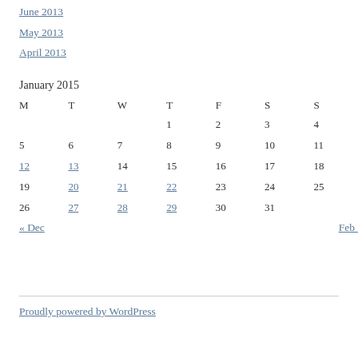June 2013
May 2013
April 2013
January 2015
| M | T | W | T | F | S | S |
| --- | --- | --- | --- | --- | --- | --- |
|  |  |  | 1 | 2 | 3 | 4 |
| 5 | 6 | 7 | 8 | 9 | 10 | 11 |
| 12 | 13 | 14 | 15 | 16 | 17 | 18 |
| 19 | 20 | 21 | 22 | 23 | 24 | 25 |
| 26 | 27 | 28 | 29 | 30 | 31 |  |
« Dec    Feb »
Proudly powered by WordPress